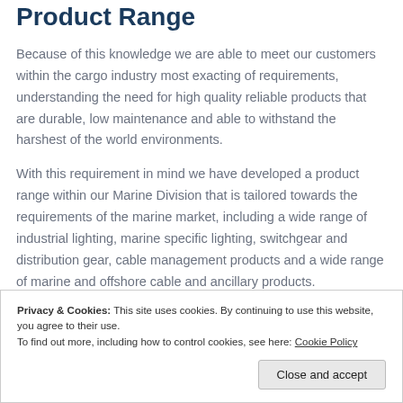Product Range
Because of this knowledge we are able to meet our customers within the cargo industry most exacting of requirements, understanding the need for high quality reliable products that are durable, low maintenance and able to withstand the harshest of the world environments.
With this requirement in mind we have developed a product range within our Marine Division that is tailored towards the requirements of the marine market, including a wide range of industrial lighting, marine specific lighting, switchgear and distribution gear, cable management products and a wide range of marine and offshore cable and ancillary products.
Privacy & Cookies: This site uses cookies. By continuing to use this website, you agree to their use.
To find out more, including how to control cookies, see here: Cookie Policy